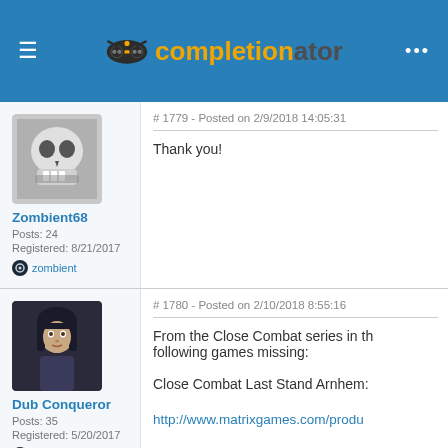completionator
# 1779 - Posted on 2/9/2018 14:05:31
Thank you!
Zombient68
Posts: 24
Registered: 8/21/2017
zombient
# 1780 - Posted on 2/10/2018 8:55:16
From the Close Combat series in th following games missing:

Close Combat Last Stand Arnhem:

http://www.matrixgames.com/produ

Close Combat The Longest Day

http://www.matrixgames.com/produ
Dub Conqueror
Posts: 35
Registered: 5/20/2017
DubConqueror